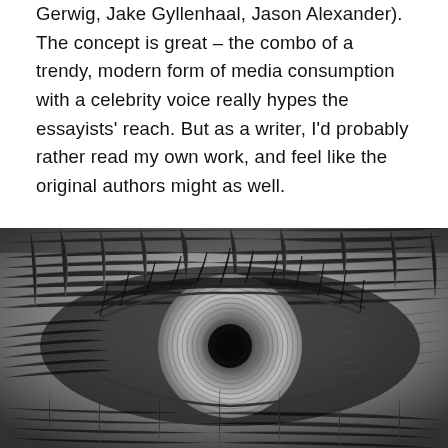Gerwig, Jake Gyllenhaal, Jason Alexander). The concept is great – the combo of a trendy, modern form of media consumption with a celebrity voice really hypes the essayists' reach. But as a writer, I'd probably rather read my own work, and feel like the original authors might as well.
[Figure (photo): Extreme close-up macro photograph of an eye engraved on US currency (dollar bill), rendered in black and white with fine engraving detail. A black navigation sidebar overlay appears on the left with a hamburger menu icon, and a purple Webflow Enterprise Partner banner appears at the bottom right.]